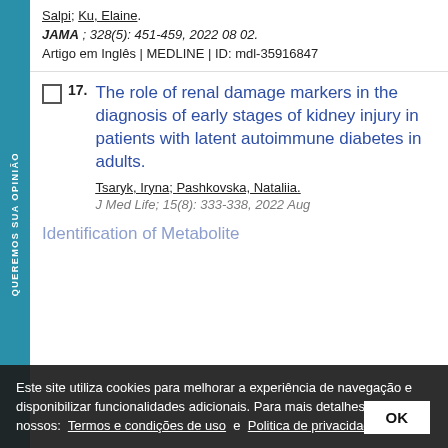Salpi; Ku, Elaine.
JAMA ; 328(5): 451-459, 2022 08 02.
Artigo em Inglês | MEDLINE | ID: mdl-35916847
17. The role of renal damage markers in the diagnosis of early stages of kidney injury in patients with latent autoimmune diabetes in adults.
Tsaryk, Iryna; Pashkovska, Nataliia.
J Med Life; 15(8): 333-338, 2022 Aug
Este site utiliza cookies para melhorar a experiência de navegação e disponibilizar funcionalidades adicionais. Para mais detalhes consulte nossos: Termos e condições de uso e Politica de privacidade
18. Identification of Metabolite